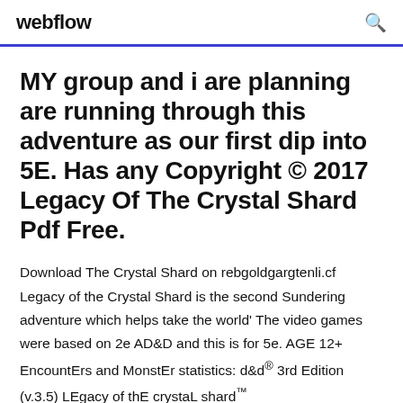webflow
MY group and i are planning are running through this adventure as our first dip into 5E. Has any Copyright © 2017 Legacy Of The Crystal Shard Pdf Free.
Download The Crystal Shard on rebgoldgargtenli.cf Legacy of the Crystal Shard is the second Sundering adventure which helps take the world' The video games were based on 2e AD&D and this is for 5e. AGE 12+ EncountErs and MonstEr statistics: d&d® 3rd Edition (v.3.5) LEgacy of thE crystaL shard™